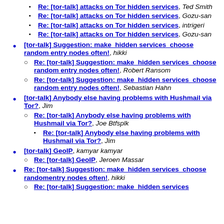Re: [tor-talk] attacks on Tor hidden services, Ted Smith
Re: [tor-talk] attacks on Tor hidden services, Gozu-san
Re: [tor-talk] attacks on Tor hidden services, intrigeri
Re: [tor-talk] attacks on Tor hidden services, Gozu-san
[tor-talk] Suggestion: make  hidden services  choose random entry nodes often!, hikki
Re: [tor-talk] Suggestion: make  hidden services  choose random entry nodes often!, Robert Ransom
Re: [tor-talk] Suggestion: make  hidden services  choose random entry nodes often!, Sebastian Hahn
[tor-talk] Anybody else having problems with Hushmail via Tor?, Jim
Re: [tor-talk] Anybody else having problems with Hushmail via Tor?, Joe Btfsplk
Re: [tor-talk] Anybody else having problems with Hushmail via Tor?, Jim
[tor-talk] GeoIP, kamyar kamyar
Re: [tor-talk] GeoIP, Jeroen Massar
Re: [tor-talk] Suggestion: make  hidden services  choose randomentry nodes often!, hikki
Re: [tor-talk] Suggestion: make  hidden services